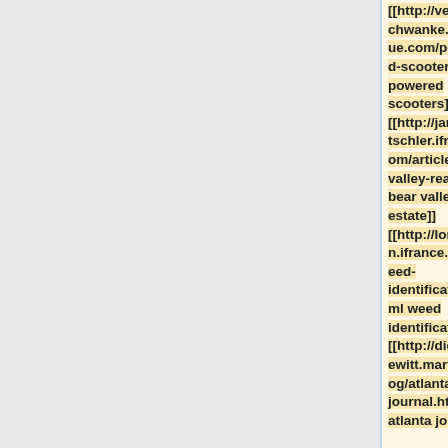[[http://verlineschwanke.ibelgique.com/powered-scooters.html powered scooters]] [[http://janeerentschler.ifrance.com/article/bear-valley-real.html bear valley real estate]] [[http://loretakan.ifrance.com/weed-identification.html weed identification]] [[http://diedreprewitt.marte.ro/blog/atlanta-journal.html atlanta journal]]